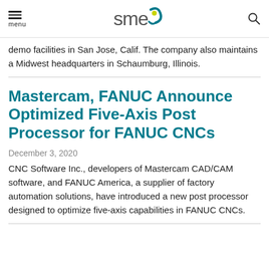menu | SME logo | search
demo facilities in San Jose, Calif. The company also maintains a Midwest headquarters in Schaumburg, Illinois.
Mastercam, FANUC Announce Optimized Five-Axis Post Processor for FANUC CNCs
December 3, 2020
CNC Software Inc., developers of Mastercam CAD/CAM software, and FANUC America, a supplier of factory automation solutions, have introduced a new post processor designed to optimize five-axis capabilities in FANUC CNCs.